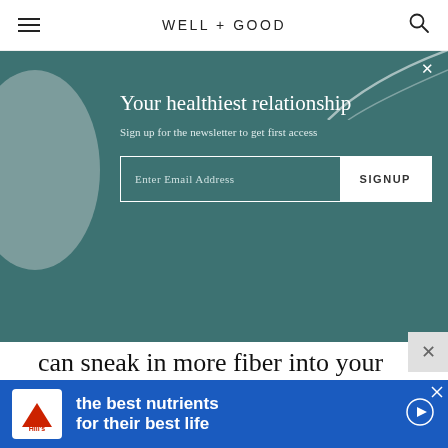WELL+GOOD
[Figure (screenshot): Newsletter signup overlay on teal/dark cyan background with decorative circle and arc. Title: 'Your healthiest relationship'. Subtitle: 'Sign up for the newsletter to get first access'. Email input field with 'Enter Email Address' placeholder and 'SIGNUP' button.]
can sneak in more fiber into your diet through gut-friendly snacks.
ADVERTISEMENT
[Figure (screenshot): Hill's Pet Nutrition advertisement banner. Blue background with Hill's logo on left and text 'the best nutrients for their best life' in white on right.]